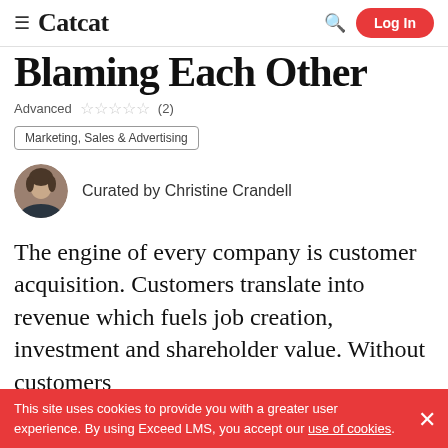≡ Catcat  🔍  Log In
Blaming Each Other
Advanced ☆☆☆☆☆ (2)
Marketing, Sales & Advertising
Curated by Christine Crandell
The engine of every company is customer acquisition. Customers translate into revenue which fuels job creation, investment and shareholder value. Without customers
This site uses cookies to provide you with a greater user experience. By using Exceed LMS, you accept our use of cookies.